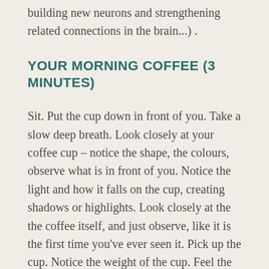building new neurons and strengthening related connections in the brain...) .
YOUR MORNING COFFEE (3 MINUTES)
Sit. Put the cup down in front of you. Take a slow deep breath. Look closely at your coffee cup – notice the shape, the colours, observe what is in front of you. Notice the light and how it falls on the cup, creating shadows or highlights. Look closely at the the coffee itself, and just observe, like it is the first time you've ever seen it. Pick up the cup. Notice the weight of the cup. Feel the warmth on your hands. Bring the cup close to your face, and smell the coffee. Now, bring the coffee up to